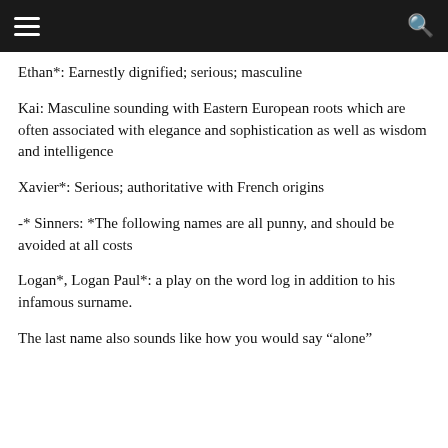Ethan*: Earnestly dignified; serious; masculine
Kai: Masculine sounding with Eastern European roots which are often associated with elegance and sophistication as well as wisdom and intelligence
Xavier*: Serious; authoritative with French origins
-* Sinners: *The following names are all punny, and should be avoided at all costs
Logan*, Logan Paul*: a play on the word log in addition to his infamous surname.
The last name also sounds like how you would say “alone”